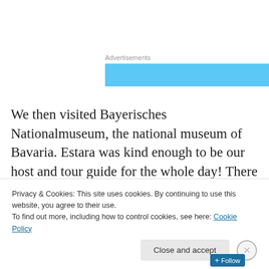Advertisements
[Figure (other): Light blue advertisement banner placeholder]
We then visited Bayerisches Nationalmuseum, the national museum of Bavaria. Estara was kind enough to be our host and tour guide for the whole day! There were so many things to see in the museum and we walked around for several hours, admiring the exhibits.
[Figure (photo): Partial photo of Bayerisches Nationalmuseum building with blue sky]
Privacy & Cookies: This site uses cookies. By continuing to use this website, you agree to their use.
To find out more, including how to control cookies, see here: Cookie Policy
Close and accept